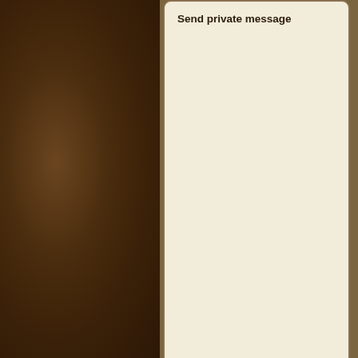[Figure (screenshot): Left brown leather/wood texture panel background]
Send private message
weaver95
Apprentice Greytalker
Joined: Jun 16, 2007
Posts: 56
Send private message
I never
Fri Jul 27,
cl
T
o